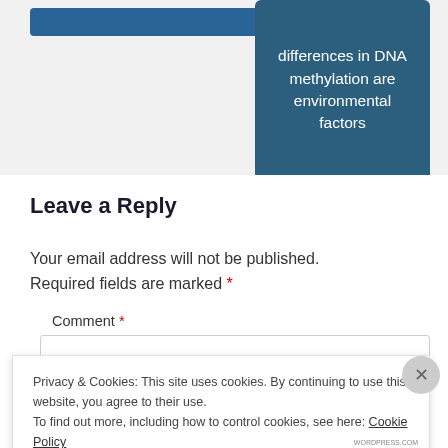[Figure (screenshot): Dark blue card with white text reading 'differences in DNA methylation are environmental factors']
Leave a Reply
Your email address will not be published. Required fields are marked *
Comment *
Privacy & Cookies: This site uses cookies. By continuing to use this website, you agree to their use. To find out more, including how to control cookies, see here: Cookie Policy
Close and accept